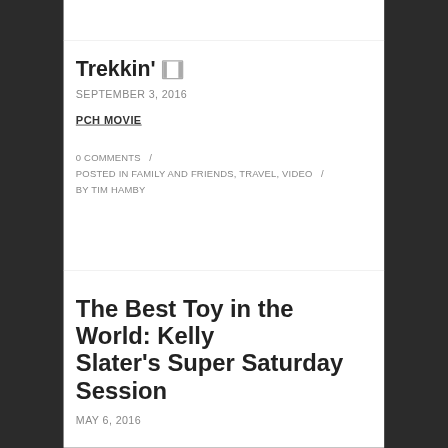Trekkin' 🎞
SEPTEMBER 3, 2016
PCH MOVIE
0 COMMENTS  /  POSTED IN FAMILY AND FRIENDS, TRAVEL, VIDEO  /  BY TIM HAMBY
The Best Toy in the World: Kelly Slater's Super Saturday Session
MAY 6, 2016